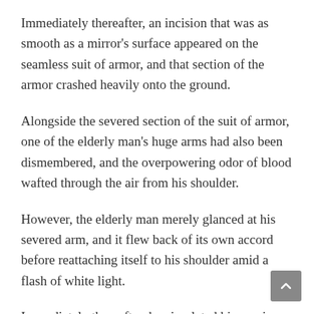Immediately thereafter, an incision that was as smooth as a mirror's surface appeared on the seamless suit of armor, and that section of the armor crashed heavily onto the ground.
Alongside the severed section of the suit of armor, one of the elderly man's huge arms had also been dismembered, and the overpowering odor of blood wafted through the air from his shoulder.
However, the elderly man merely glanced at his severed arm, and it flew back of its own accord before reattaching itself to his shoulder amid a flash of white light.
Immediately thereafter, he circulated his magic power